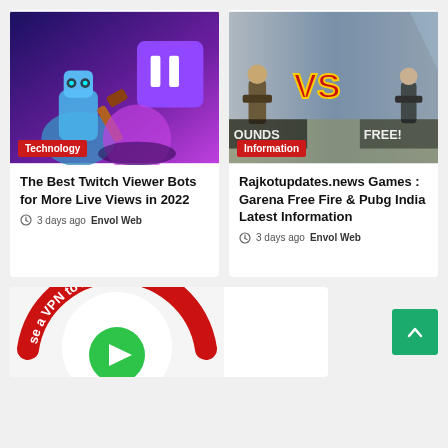[Figure (photo): Twitch logo with robot and gaming icons on purple/blue background]
Technology
The Best Twitch Viewer Bots for More Live Views in 2022
3 days ago  Envol Web
[Figure (photo): PUBG vs Free Fire game characters with VS text on battlefield background]
Information
Rajkotupdates.news Games : Garena Free Fire & Pubg India Latest Information
3 days ago  Envol Web
[Figure (photo): Partial image showing curved red banner text 'use a VPN to Access Tu' with green play button]
[Figure (other): Green back-to-top button with upward chevron arrow]